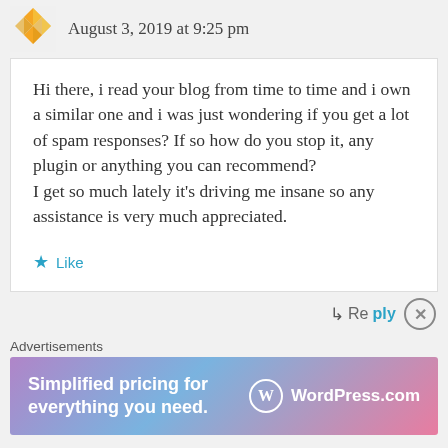August 3, 2019 at 9:25 pm
Hi there, i read your blog from time to time and i own a similar one and i was just wondering if you get a lot of spam responses? If so how do you stop it, any plugin or anything you can recommend?
I get so much lately it’s driving me insane so any assistance is very much appreciated.
★ Like
↳ Reply
Advertisements
[Figure (infographic): WordPress.com advertisement banner with gradient background (purple to blue to pink). Text reads: 'Simplified pricing for everything you need.' with WordPress.com logo on the right.]